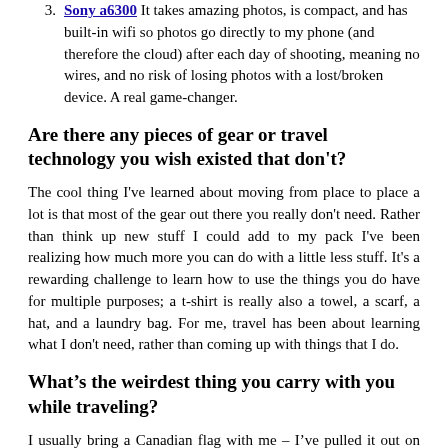Sony a6300 It takes amazing photos, is compact, and has built-in wifi so photos go directly to my phone (and therefore the cloud) after each day of shooting, meaning no wires, and no risk of losing photos with a lost/broken device. A real game-changer.
Are there any pieces of gear or travel technology you wish existed that don't?
The cool thing I've learned about moving from place to place a lot is that most of the gear out there you really don't need. Rather than think up new stuff I could add to my pack I've been realizing how much more you can do with a little less stuff. It's a rewarding challenge to learn how to use the things you do have for multiple purposes; a t-shirt is really also a towel, a scarf, a hat, and a laundry bag. For me, travel has been about learning what I don't need, rather than coming up with things that I do.
What’s the weirdest thing you carry with you while traveling?
I usually bring a Canadian flag with me – I’ve pulled it out on climbing expeditions as well as at concerts. It’s a pretty universal